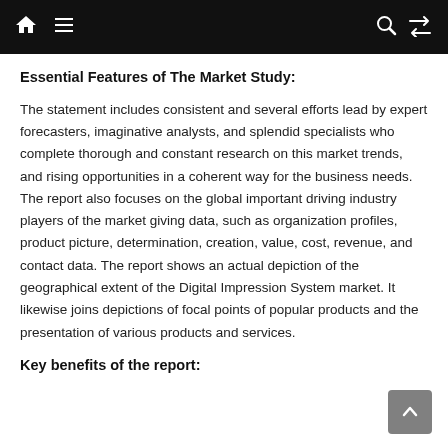Navigation bar with home, menu, search, and shuffle icons
Essential Features of The Market Study:
The statement includes consistent and several efforts lead by expert forecasters, imaginative analysts, and splendid specialists who complete thorough and constant research on this market trends, and rising opportunities in a coherent way for the business needs. The report also focuses on the global important driving industry players of the market giving data, such as organization profiles, product picture, determination, creation, value, cost, revenue, and contact data. The report shows an actual depiction of the geographical extent of the Digital Impression System market. It likewise joins depictions of focal points of popular products and the presentation of various products and services.
Key benefits of the report: